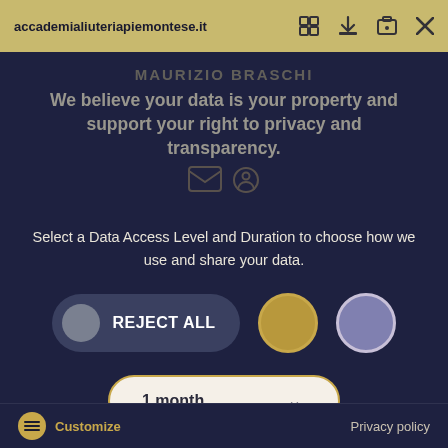accademialiuteriapiemontese.it
MAURIZIO BRASCHI
We believe your data is your property and support your right to privacy and transparency.
Select a Data Access Level and Duration to choose how we use and share your data.
[Figure (screenshot): UI controls: REJECT ALL toggle button, gold circle button, purple circle button]
[Figure (screenshot): Dropdown selector showing '1 month' with chevron arrow]
Highest level of privacy. Data accessed for necessary basic operations only. Data shared with 3rd parties to ensure the site is secure and works on your device
[Figure (screenshot): Save my preferences button (gold/tan rounded rectangle)]
Customize   Privacy policy